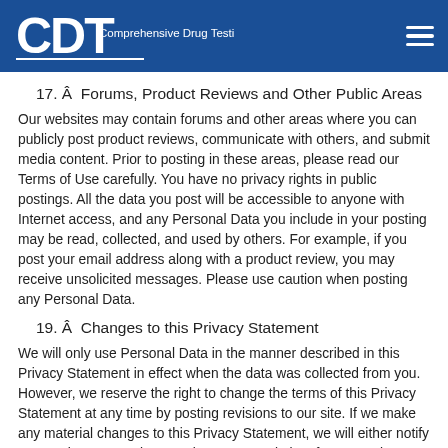CDT Comprehensive Drug Testing
17. Â  Forums, Product Reviews and Other Public Areas
Our websites may contain forums and other areas where you can publicly post product reviews, communicate with others, and submit media content. Prior to posting in these areas, please read our Terms of Use carefully. You have no privacy rights in public postings. All the data you post will be accessible to anyone with Internet access, and any Personal Data you include in your posting may be read, collected, and used by others. For example, if you post your email address along with a product review, you may receive unsolicited messages. Please use caution when posting any Personal Data.
19. Â  Changes to this Privacy Statement
We will only use Personal Data in the manner described in this Privacy Statement in effect when the data was collected from you. However, we reserve the right to change the terms of this Privacy Statement at any time by posting revisions to our site. If we make any material changes to this Privacy Statement, we will either notify you or place a prominent notice on our website. If at any point, we decided to use Personal Data in a manner different from that stated at the time it was collected, we will